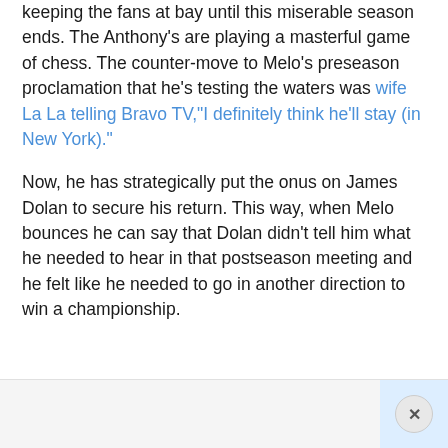keeping the fans at bay until this miserable season ends. The Anthony's are playing a masterful game of chess. The counter-move to Melo's preseason proclamation that he's testing the waters was wife La La telling Bravo TV,"I definitely think he'll stay (in New York)."

Now, he has strategically put the onus on James Dolan to secure his return. This way, when Melo bounces he can say that Dolan didn't tell him what he needed to hear in that postseason meeting and he felt like he needed to go in another direction to win a championship.